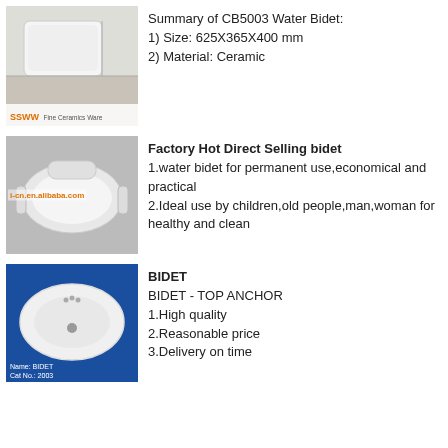[Figure (photo): Photo of CB5003 Water Bidet, white ceramic, with SSWW logo bar at bottom]
Summary of CB5003 Water Bidet:
1) Size: 625X365X400 mm
2) Material: Ceramic
[Figure (photo): Photo of a white bidet/water bidet from factory, with alibaba.com watermark]
Factory Hot Direct Selling bidet
1.water bidet for permanent use,economical and practical
2.Ideal use by children,old people,man,woman for healthy and clean
[Figure (photo): Photo of a white bidet top-view on blue background, labeled BIDET, Cat No. 2003]
BIDET
BIDET - TOP ANCHOR
1.High quality
2.Reasonable price
3.Delivery on time